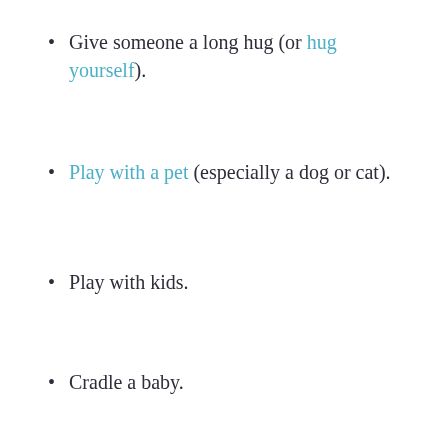Give someone a long hug (or hug yourself).
Play with a pet (especially a dog or cat).
Play with kids.
Cradle a baby.